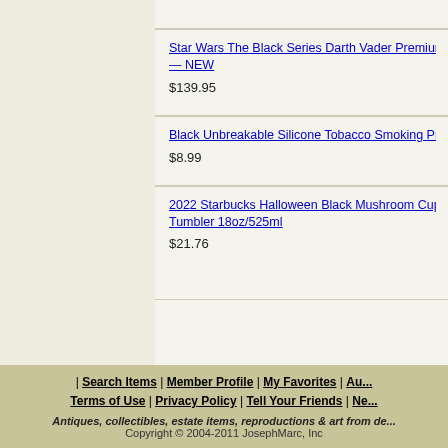Star Wars The Black Series Darth Vader Premium Ele... — NEW
$139.95
Black Unbreakable Silicone Tobacco Smoking Pipe w/...
$8.99
2022 Starbucks Halloween Black Mushroom Cup Mas... Tumbler 18oz/525ml
$21.76
| Search Items | Member Profile | My Favorites | Au...
Terms of Use | Privacy Policy | Tell Your Friends | Ne...
Antiques, collectibles, estate items, reproductions & art from de...
Copyright © 2004-2011 JosephMarc, Inc